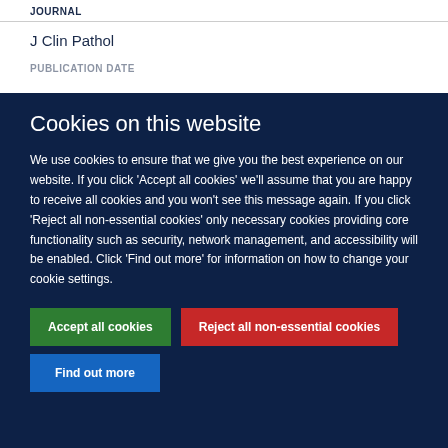JOURNAL
J Clin Pathol
PUBLICATION DATE
Cookies on this website
We use cookies to ensure that we give you the best experience on our website. If you click 'Accept all cookies' we'll assume that you are happy to receive all cookies and you won't see this message again. If you click 'Reject all non-essential cookies' only necessary cookies providing core functionality such as security, network management, and accessibility will be enabled. Click 'Find out more' for information on how to change your cookie settings.
Accept all cookies
Reject all non-essential cookies
Find out more